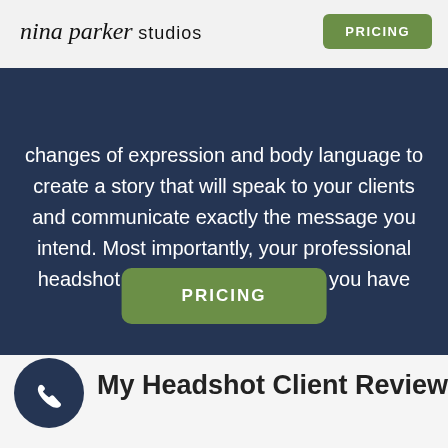nina parker studios | PRICING
Whether you want to look approachable, serious, confidant, or something unique to your personality, I can coach and guide you through slight changes of expression and body language to create a story that will speak to your clients and communicate exactly the message you intend. Most importantly, your professional headshot will be the best photos you have ever taken.
PRICING
My Headshot Client Reviews